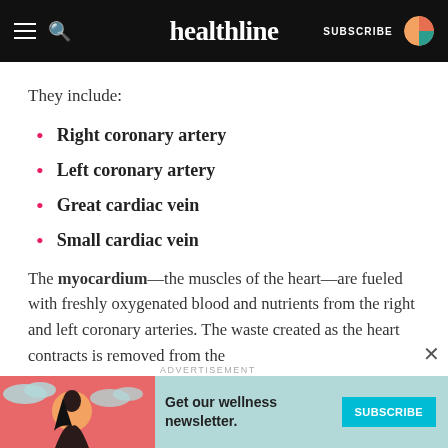healthline
They include:
Right coronary artery
Left coronary artery
Great cardiac vein
Small cardiac vein
The myocardium—the muscles of the heart—are fueled with freshly oxygenated blood and nutrients from the right and left coronary arteries. The waste created as the heart contracts is removed from the
[Figure (infographic): Advertisement banner for Healthline wellness newsletter with illustrated woman and teal subscribe button. Text: 'Get our wellness newsletter.' with SUBSCRIBE button.]